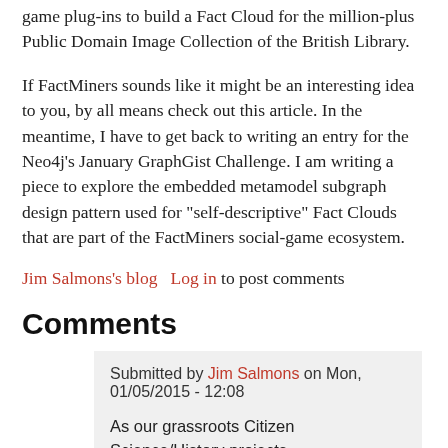game plug-ins to build a Fact Cloud for the million-plus Public Domain Image Collection of the British Library.
If FactMiners sounds like it might be an interesting idea to you, by all means check out this article. In the meantime, I have to get back to writing an entry for the Neo4j's January GraphGist Challenge. I am writing a piece to explore the embedded metamodel subgraph design pattern used for "self-descriptive" Fact Clouds that are part of the FactMiners social-game ecosystem.
Jim Salmons's blog   Log in to post comments
Comments
Submitted by Jim Salmons on Mon, 01/05/2015 - 12:08
As our grassroots Citizen Science/History projects (SoftalkApple.com and FactMiners.org) evolve, too